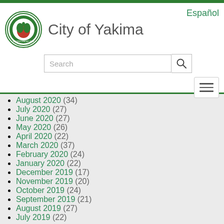City of Yakima
August 2020 (34)
July 2020 (27)
June 2020 (27)
May 2020 (26)
April 2020 (22)
March 2020 (37)
February 2020 (24)
January 2020 (22)
December 2019 (17)
November 2019 (20)
October 2019 (24)
September 2019 (21)
August 2019 (27)
July 2019 (22)